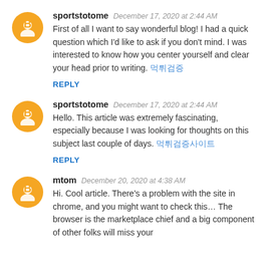sportstotome  December 17, 2020 at 2:44 AM
First of all I want to say wonderful blog! I had a quick question which I'd like to ask if you don't mind. I was interested to know how you center yourself and clear your head prior to writing. 먹튀검증
REPLY
sportstotome  December 17, 2020 at 2:44 AM
Hello. This article was extremely fascinating, especially because I was looking for thoughts on this subject last couple of days. 먹튀검증사이트
REPLY
mtom  December 20, 2020 at 4:38 AM
Hi. Cool article. There's a problem with the site in chrome, and you might want to check this… The browser is the marketplace chief and a big component of other folks will miss your excellent writing because of this problem.